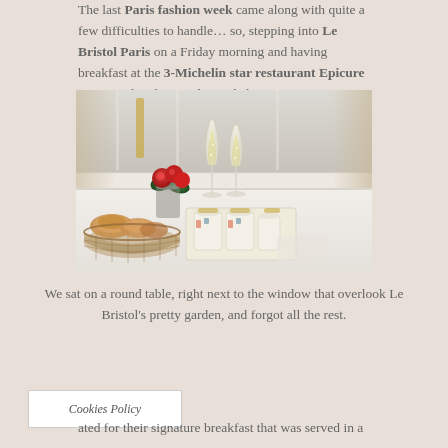The last Paris fashion week came along with quite a few difficulties to handle… so, stepping into Le Bristol Paris on a Friday morning and having breakfast at the 3-Michelin star restaurant Epicure was exactly what I truly needed.
[Figure (photo): A breakfast table setting at Le Bristol Paris restaurant Epicure, showing two champagne flutes filled with sparkling wine, a wicker basket with croissants and pastries, floral-patterned porcelain condiment jars on a tray, and a vase of red roses, with bright windows in the background.]
We sat on a round table, right next to the window that overlook Le Bristol's pretty garden, and forgot all the rest.
Cookies Policy
ated for their signature breakfast that was served in a